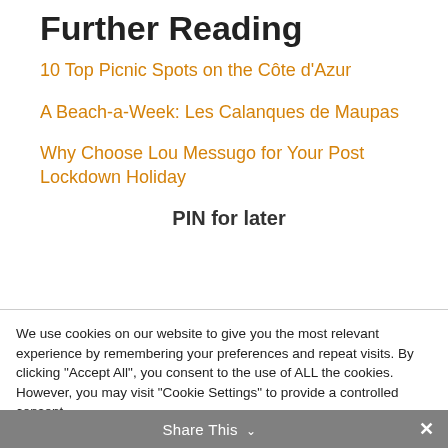Further Reading
10 Top Picnic Spots on the Côte d'Azur
A Beach-a-Week: Les Calanques de Maupas
Why Choose Lou Messugo for Your Post Lockdown Holiday
PIN for later
We use cookies on our website to give you the most relevant experience by remembering your preferences and repeat visits. By clicking "Accept All", you consent to the use of ALL the cookies. However, you may visit "Cookie Settings" to provide a controlled consent.
Cookie Settings | Accept All
Share This ∨  ✕